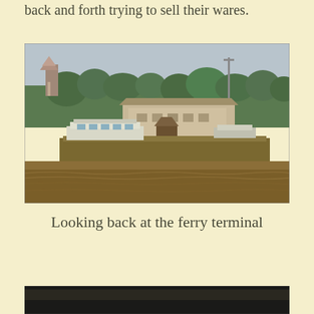back and forth trying to sell their wares.
[Figure (photo): A large flat barge on a wide muddy brown river, loaded with vehicles and a small shelter structure. Behind the barge is a ferry terminal building with a pagoda-style tower on the left, and dense tropical palm trees in the background under an overcast grey sky.]
Looking back at the ferry terminal
[Figure (photo): Bottom portion of another photograph, partially visible at the bottom edge of the page, showing a dark scene.]